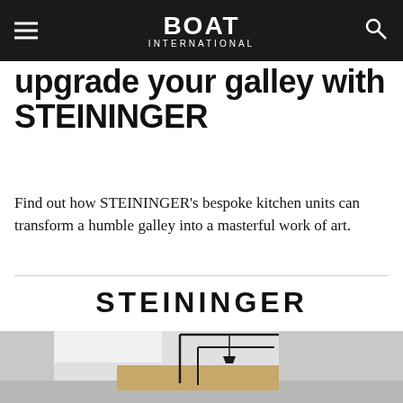BOAT International
upgrade your galley with STEININGER
Find out how STEININGER's bespoke kitchen units can transform a humble galley into a masterful work of art.
[Figure (logo): STEININGER brand wordmark in bold sans-serif capitals]
[Figure (photo): Minimalist modern kitchen island in warm wood tones with black geometric frame structure and pendant lamp in a white room]